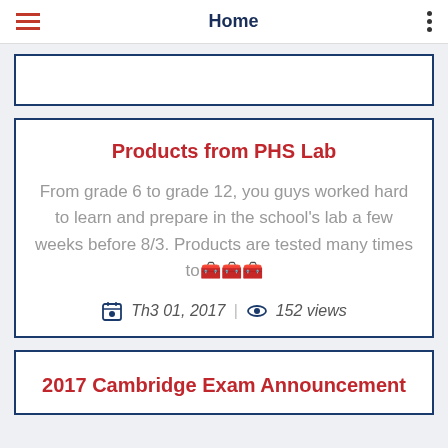Home
Products from PHS Lab
From grade 6 to grade 12, you guys worked hard to learn and prepare in the school's lab a few weeks before 8/3. Products are tested many times to…
Th3 01, 2017 | 152 views
2017 Cambridge Exam Announcement